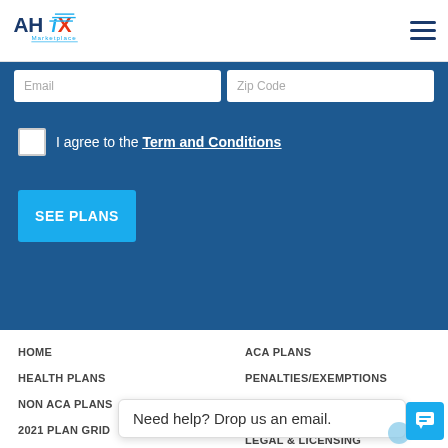[Figure (logo): AHiX Marketplace logo with stylized blue text and wing graphic]
Email
Zip Code
I agree to the Term and Conditions
SEE PLANS
HOME
HEALTH PLANS
NON ACA PLANS
2021 PLAN GRID
SHORT TERM MEDICAL
ACA PLANS
PENALTIES/EXEMPTIONS
EASY ENROLLMENT
LEGAL & LICENSING
Need help? Drop us an email.